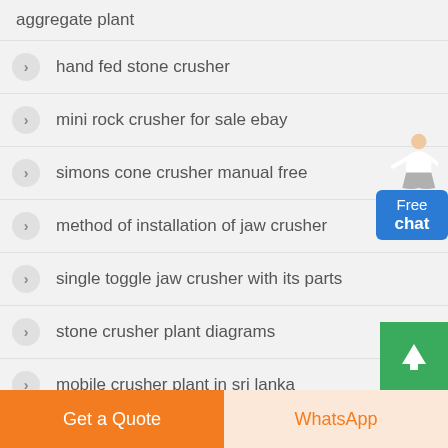aggregate plant
hand fed stone crusher
mini rock crusher for sale ebay
simons cone crusher manual free
method of installation of jaw crusher
single toggle jaw crusher with its parts
stone crusher plant diagrams
mobile crusher plant in sri lanka
[Figure (illustration): Customer service person with Free chat button widget in top-right corner]
[Figure (illustration): Green scroll-to-top button with upward arrow]
Get a Quote
WhatsApp